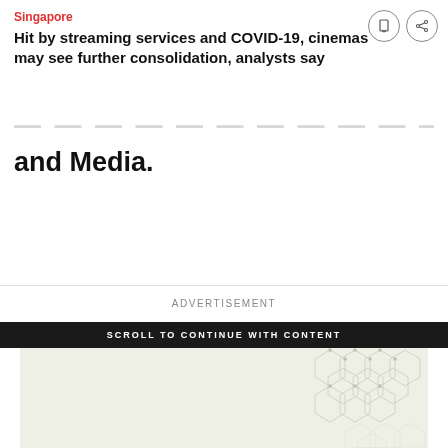Singapore
Hit by streaming services and COVID-19, cinemas may see further consolidation, analysts say
and Media.
ADVERTISEMENT
SCROLL TO CONTINUE WITH CONTENT
[Figure (photo): Advertisement image with light greenish background and hexagonal molecular structure pattern in upper right and lower right corners]